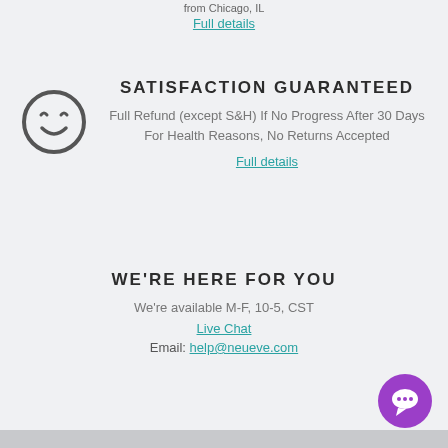from Chicago, IL
Full details
SATISFACTION GUARANTEED
[Figure (illustration): Smiley face icon — circle outline with happy squinting eyes]
Full Refund (except S&H) If No Progress After 30 Days For Health Reasons, No Returns Accepted
Full details
WE'RE HERE FOR YOU
We're available M-F, 10-5, CST
Live Chat
Email: help@neueve.com
[Figure (illustration): Purple circular chat bubble button with speech bubble icon]